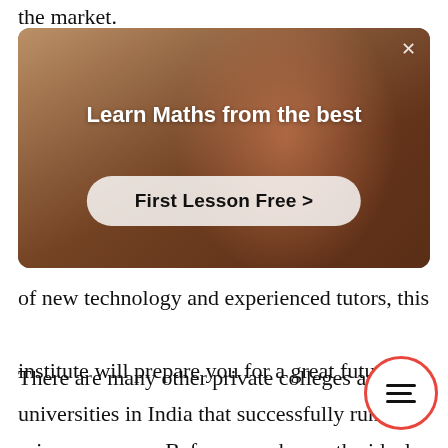the market.
[Figure (screenshot): Advertisement banner with a person teaching in the background. Title reads 'Learn Maths from the best' with a button 'First Lesson Free >' and a close (X) button in the top right corner.]
of new technology and experienced tutors, this institute will prepare you for a great future.
There are many other private colleges and universities in India that successfully run data science courses. Before you choose the ideal institution for you, make sure to go through t few years' performances of the university and placement scenario.